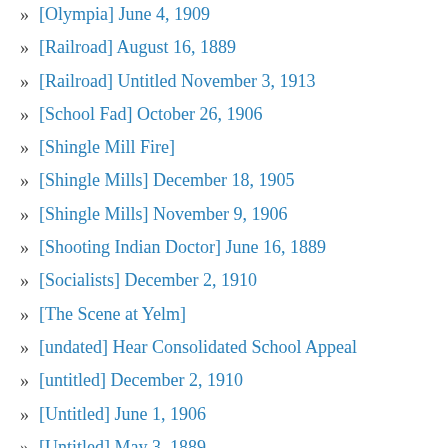[Olympia] June 4, 1909
[Railroad] August 16, 1889
[Railroad] Untitled November 3, 1913
[School Fad] October 26, 1906
[Shingle Mill Fire]
[Shingle Mills] December 18, 1905
[Shingle Mills] November 9, 1906
[Shooting Indian Doctor] June 16, 1889
[Socialists] December 2, 1910
[The Scene at Yelm]
[undated] Hear Consolidated School Appeal
[untitled] December 2, 1910
[Untitled] June 1, 1906
[Untitled] May 3, 1889
[Untitled] November 28, 1899